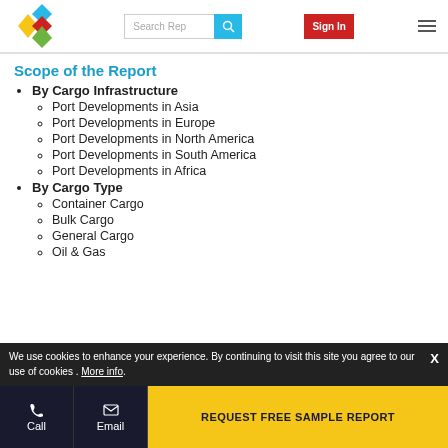Search Rep | Sign In
Scope of the Report
By Cargo Infrastructure
Port Developments in Asia
Port Developments in Europe
Port Developments in North America
Port Developments in South America
Port Developments in Africa
By Cargo Type
Container Cargo
Bulk Cargo
General Cargo
Oil & Gas
We use cookies to enhance your experience. By continuing to visit this site you agree to our use of cookies . More info.
Call | Email | REQUEST FREE SAMPLE REPORT